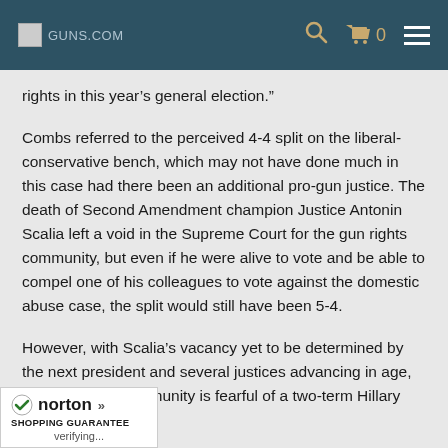Guns.com — search, cart (0), menu
rights in this year’s general election.”
Combs referred to the perceived 4-4 split on the liberal-conservative bench, which may not have done much in this case had there been an additional pro-gun justice. The death of Second Amendment champion Justice Antonin Scalia left a void in the Supreme Court for the gun rights community, but even if he were alive to vote and be able to compel one of his colleagues to vote against the domestic abuse case, the split would still have been 5-4.
However, with Scalia’s vacancy yet to be determined by the next president and several justices advancing in age, the gun rights community is fearful of a two-term Hillary Clinton
[Figure (logo): Norton Shopping Guarantee badge with checkmark, brand name, and 'verifying...' text]